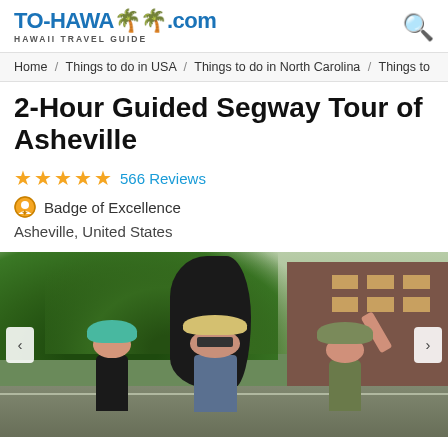TO-HAWAII.com HAWAII TRAVEL GUIDE
Home / Things to do in USA / Things to do in North Carolina / Things to
2-Hour Guided Segway Tour of Asheville
★★★★★ 566 Reviews
Badge of Excellence
Asheville, United States
[Figure (photo): Three people posing on Segways in front of a large black sculpture and brick building in Asheville. The person on the left wears a teal helmet, the person in the center wears a hat and makes a peace sign, and the person on the right waves with their hand raised.]